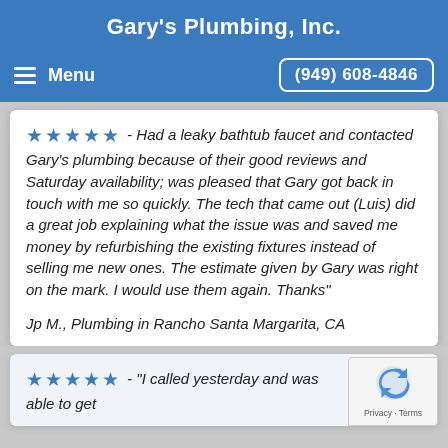Gary's Plumbing, Inc.
Menu  (949) 608-4846
★★★★★ - Had a leaky bathtub faucet and contacted Gary's plumbing because of their good reviews and Saturday availability; was pleased that Gary got back in touch with me so quickly. The tech that came out (Luis) did a great job explaining what the issue was and saved me money by refurbishing the existing fixtures instead of selling me new ones. The estimate given by Gary was right on the mark. I would use them again. Thanks"
Jp M., Plumbing in Rancho Santa Margarita, CA
★★★★★ - "I called yesterday and was able to get